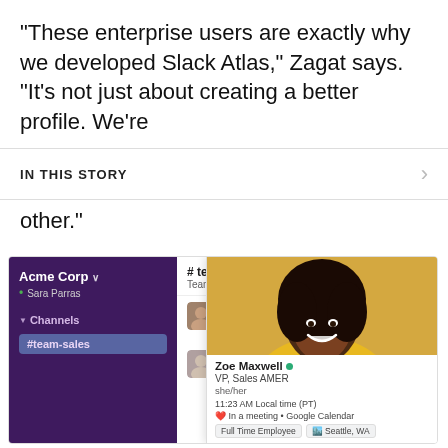“These enterprise users are exactly why we developed Slack Atlas,” Zagat says. “It’s not just about creating a better profile. We’re
IN THIS STORY
other.”
[Figure (screenshot): Screenshot of Slack interface showing Acme Corp workspace with team-sales channel, chat messages from Zoe Maxwell and Sara Parras, and Zoe Maxwell's profile popup overlaid showing her photo, title VP Sales AMER, pronouns she/her, local time 11:23 AM, in a meeting status, and tags Full Time Employee and Seattle WA.]